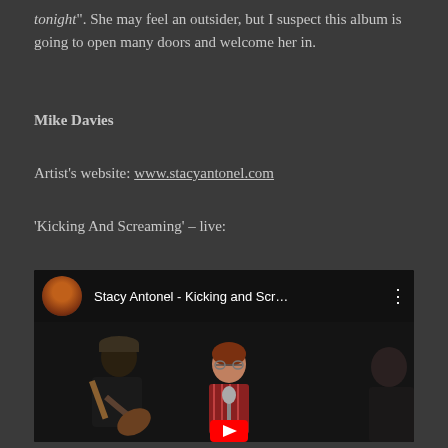tonight". She may feel an outsider, but I suspect this album is going to open many doors and welcome her in.
Mike Davies
Artist's website: www.stacyantonel.com
'Kicking And Screaming' – live:
[Figure (screenshot): YouTube video embed showing Stacy Antonel - Kicking and Scr... with a thumbnail of the artist and a live performance video frame showing three musicians, one playing guitar on the left, a woman singer with glasses in the center, and another person on the right, with a red YouTube play button at the bottom.]